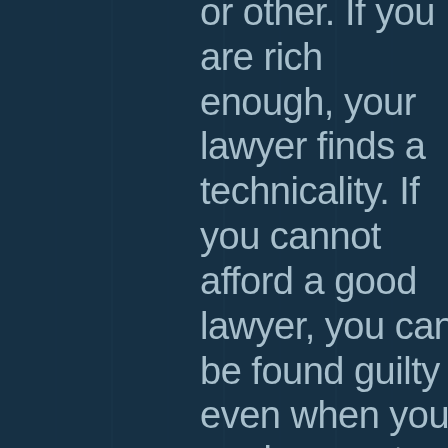or other. If you are rich enough, your lawyer finds a technicality. If you cannot afford a good lawyer, you can be found guilty even when you are innocent–especially if you are the wrong race!